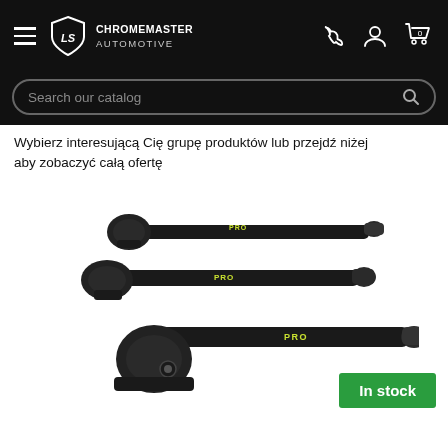CHROMEMASTER AUTOMOTIVE — navigation bar with hamburger menu, logo, phone, account, and cart icons
Search our catalog
Wybierz interesującą Cię grupę produktów lub przejdź niżej aby zobaczyć całą ofertę
[Figure (photo): Two black roof rack bars (Turtle PRO brand) shown at an angle on a white background. The front bar shows a close-up of the locking mechanism with 'TURTLE' branding. An 'In stock' green badge overlays the bottom right.]